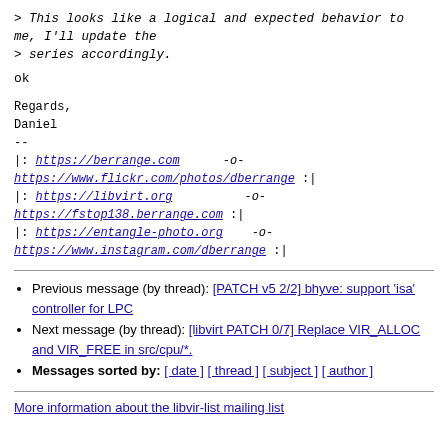> This looks like a logical and expected behavior to me, I'll update the
> series accordingly.
ok
Regards,
Daniel
--
|: https://berrange.com      -o-  https://www.flickr.com/photos/dberrange :|
|: https://libvirt.org         -o-  https://fstop138.berrange.com :|
|: https://entangle-photo.org    -o-  https://www.instagram.com/dberrange :|
Previous message (by thread): [PATCH v5 2/2] bhyve: support 'isa' controller for LPC
Next message (by thread): [libvirt PATCH 0/7] Replace VIR_ALLOC and VIR_FREE in src/cpu/*.
Messages sorted by: [ date ] [ thread ] [ subject ] [ author ]
More information about the libvir-list mailing list